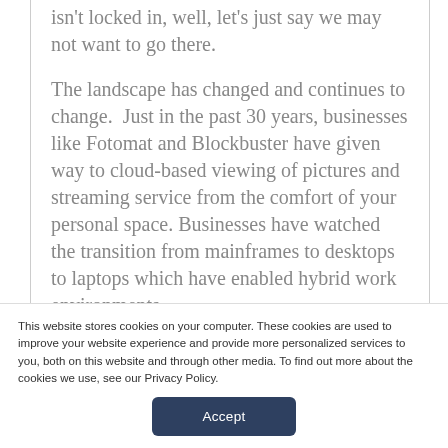isn't locked in, well, let's just say we may not want to go there.
The landscape has changed and continues to change.  Just in the past 30 years, businesses like Fotomat and Blockbuster have given way to cloud-based viewing of pictures and streaming service from the comfort of your personal space. Businesses have watched the transition from mainframes to desktops to laptops which have enabled hybrid work environments.
This website stores cookies on your computer. These cookies are used to improve your website experience and provide more personalized services to you, both on this website and through other media. To find out more about the cookies we use, see our Privacy Policy.